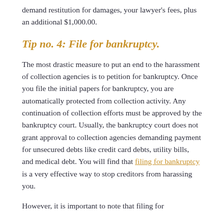demand restitution for damages, your lawyer's fees, plus an additional $1,000.00.
Tip no. 4: File for bankruptcy.
The most drastic measure to put an end to the harassment of collection agencies is to petition for bankruptcy. Once you file the initial papers for bankruptcy, you are automatically protected from collection activity. Any continuation of collection efforts must be approved by the bankruptcy court. Usually, the bankruptcy court does not grant approval to collection agencies demanding payment for unsecured debts like credit card debts, utility bills, and medical debt. You will find that filing for bankruptcy is a very effective way to stop creditors from harassing you.
However, it is important to note that filing for